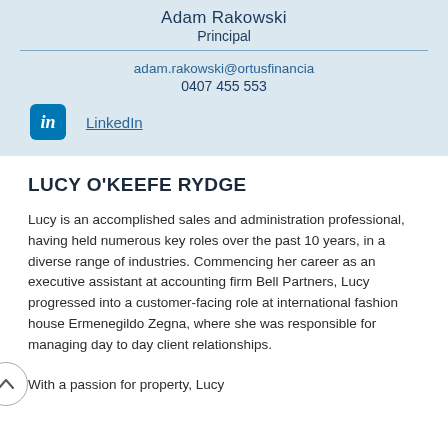Adam Rakowski
Principal
adam.rakowski@ortusfinancia
0407 455 553
[Figure (logo): LinkedIn 'in' logo icon in blue square]
LinkedIn
LUCY O'KEEFE RYDGE
Lucy is an accomplished sales and administration professional, having held numerous key roles over the past 10 years, in a diverse range of industries. Commencing her career as an executive assistant at accounting firm Bell Partners, Lucy progressed into a customer-facing role at international fashion house Ermenegildo Zegna, where she was responsible for managing day to day client relationships.
With a passion for property, Lucy